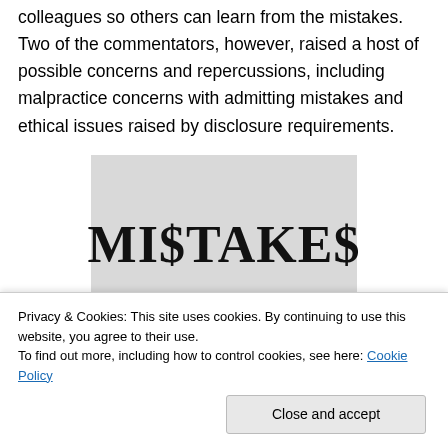colleagues so others can learn from the mistakes.  Two of the commentators, however, raised a host of possible concerns and repercussions, including malpractice concerns with admitting mistakes and ethical issues raised by disclosure requirements.
[Figure (illustration): Gray rectangle containing the bold serif text 'MI$TAKE$' in large black letters, styled as a book or movie title graphic.]
Privacy & Cookies: This site uses cookies. By continuing to use this website, you agree to their use. To find out more, including how to control cookies, see here: Cookie Policy